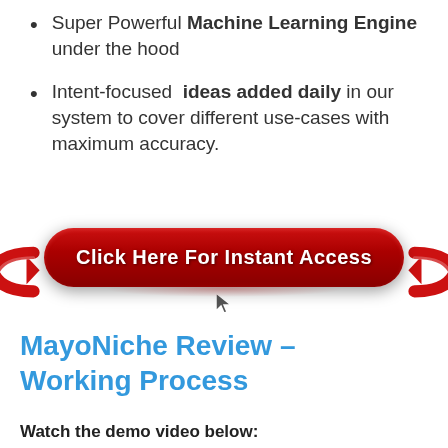Super Powerful Machine Learning Engine under the hood
Intent-focused ideas added daily in our system to cover different use-cases with maximum accuracy.
[Figure (other): Red CTA button with arrows on left and right reading 'Click Here For Instant Access' with a cursor icon below]
MayoNiche Review – Working Process
Watch the demo video below: